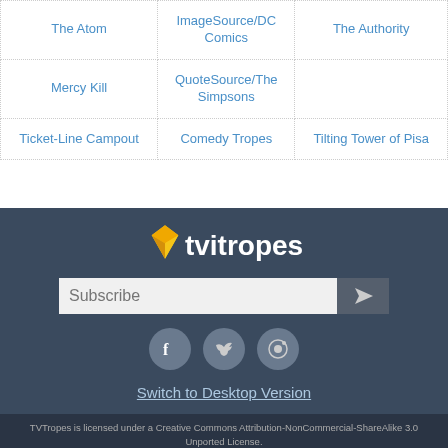| The Atom | ImageSource/DC Comics | The Authority |
| Mercy Kill | QuoteSource/The Simpsons |  |
| Ticket-Line Campout | Comedy Tropes | Tilting Tower of Pisa |
[Figure (logo): TV Tropes logo with yellow gem icon and white wordmark 'tvitropes' on dark blue background]
Subscribe
Switch to Desktop Version
TVTropes is licensed under a Creative Commons Attribution-NonCommercial-ShareAlike 3.0 Unported License.
Permissions beyond the scope of this license may be available from